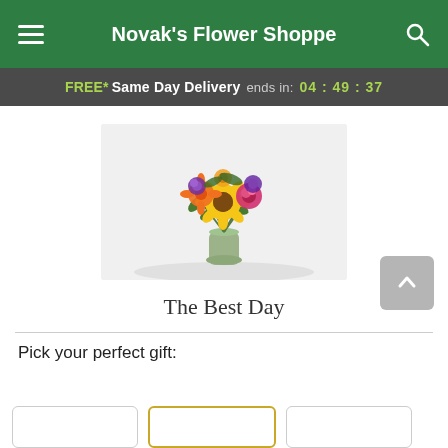Novak's Flower Shoppe
FREE* Same Day Delivery ends in: 04:49:37
[Figure (photo): A colorful flower bouquet with sunflowers, roses, lilies, and purple flowers in a glass vase on a white background.]
The Best Day
Pick your perfect gift: